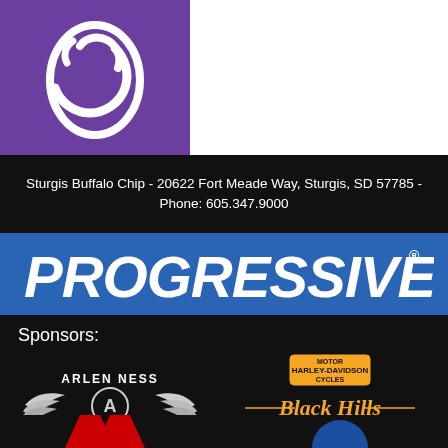[Figure (logo): Sturgis Buffalo Chip logo - white stylized fist/skull icon on purple background]
Sturgis Buffalo Chip - 20622 Fort Meade Way, Sturgis, SD 57785 - Phone: 605.347.9000
[Figure (logo): Progressive Insurance logo - white italic bold text on blue background]
Sponsors:
[Figure (logo): Arlen Ness logo with wings]
[Figure (logo): Black Hills Harley-Davidson logo]